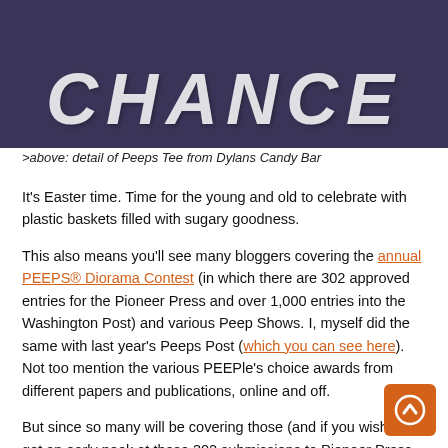[Figure (photo): Dark navy/purple background with large distressed white text reading 'CHANCE' — detail of Peeps Tee from Dylans Candy Bar]
>above: detail of Peeps Tee from Dylans Candy Bar
It's Easter time. Time for the young and old to celebrate with plastic baskets filled with sugary goodness.
This also means you'll see many bloggers covering the annual PEEPS® Diorama Contest (in which there are 302 approved entries for the Pioneer Press and over 1,000 entries into the Washington Post) and various Peep Shows. I, myself did the same with last year's Peeps Post (which you can see here). Not too mention the various PEEPle's choice awards from different papers and publications, online and off.
But since so many will be covering those (and if you wish to get an early peek at those 302 submissions to Pioneer Press, go here and to see the Washington Post finalists go